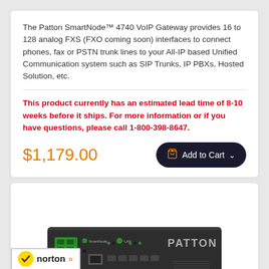The Patton SmartNode™ 4740 VoIP Gateway provides 16 to 128 analog FXS (FXO coming soon) interfaces to connect phones, fax or PSTN trunk lines to your All-IP based Unified Communication system such as SIP Trunks, IP PBXs, Hosted Solution, etc.
This product currently has an estimated lead time of 8-10 weeks before it ships. For more information or if you have questions, please call 1-800-398-8647.
$1,179.00
[Figure (photo): Photo of a Patton SmartNode network device/VoIP gateway hardware unit, a dark gray rack unit with green LEDs and PATTON branding on the front panel.]